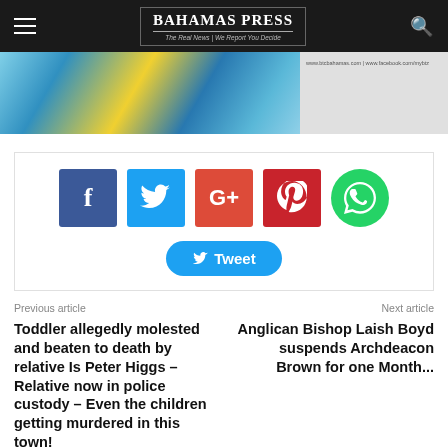BAHAMAS PRESS — The Real News | We Report You Decide
[Figure (photo): Top banner image with blue, teal, and yellow abstract pattern on left; URL text on right reading www.btcbahamas.com | www.facebook.com/mybtz]
[Figure (infographic): Social share buttons: Facebook (blue), Twitter (light blue), Google+ (red-orange), Pinterest (dark red), WhatsApp (green circle). Below: Tweet button in blue with bird icon.]
Previous article
Next article
Toddler allegedly molested and beaten to death by relative Is Peter Higgs – Relative now in police custody – Even the children getting murdered in this town!
Anglican Bishop Laish Boyd suspends Archdeacon Brown for one Month...